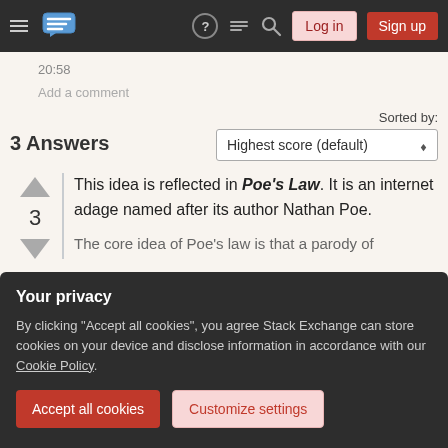Stack Exchange navigation bar with Log in and Sign up buttons
20:58
Add a comment
3 Answers
Sorted by: Highest score (default)
This idea is reflected in Poe's Law. It is an internet adage named after its author Nathan Poe.
The core idea of Poe's law is that a parody of
Your privacy
By clicking "Accept all cookies", you agree Stack Exchange can store cookies on your device and disclose information in accordance with our Cookie Policy.
Accept all cookies
Customize settings